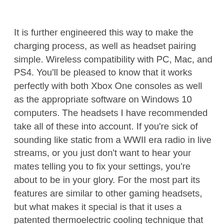It is further engineered this way to make the charging process, as well as headset pairing simple. Wireless compatibility with PC, Mac, and PS4. You'll be pleased to know that it works perfectly with both Xbox One consoles as well as the appropriate software on Windows 10 computers. The headsets I have recommended take all of these into account. If you're sick of sounding like static from a WWII era radio in live streams, or you just don't want to hear your mates telling you to fix your settings, you're about to be in your glory. For the most part its features are similar to other gaming headsets, but what makes it special is that it uses a patented thermoelectric cooling technique that helps keep your ears cool. Works with PC, Mac, PlayStation 4, and Xbox One, Auto mute feature depending on how you tilt your head; comes in handy, Durable; put these through hell and they'll stay strong, Mic picks up background noises (only when they're excessively loud). The bass feature has been amplified to make the sounds come out in the best way possible. For the most part, it's a fairly standard microphone that still picks up on a bit of background chatter and white noise. You will find it extremely